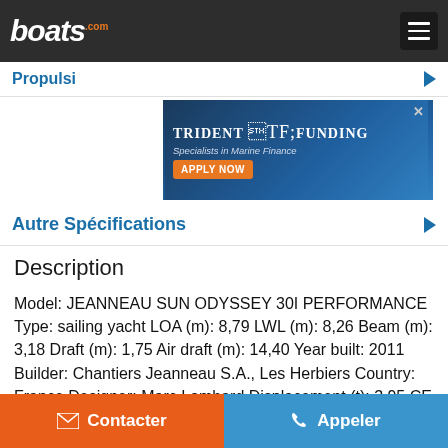boats.com
Propulsi…
[Figure (other): Trident Funding advertisement banner — Specialists in Marine Finance, with Apply Now button and boat image]
Autre Spécifications
Description
Model: JEANNEAU SUN ODYSSEY 30I PERFORMANCE Type: sailing yacht LOA (m): 8,79 LWL (m): 8,26 Beam (m): 3,18 Draft (m): 1,75 Air draft (m): 14,40 Year built: 2011 Builder: Chantiers Jeanneau S.A., Les Herbiers Country: France Designer: Marc Lombard Displacement (t): 3,95 CE norm: B Hull material: GRP Hull colour: white Hull shape: round-bilged Keel type: fin keel Superstructure material: GRP Deck material: GRP Deck finish: non-skid moulded in
Contacter  Appeler